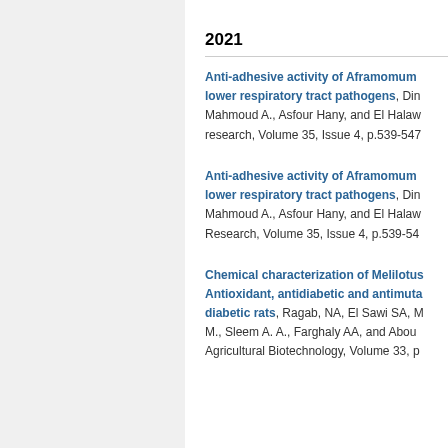2021
Anti-adhesive activity of Aframomum lower respiratory tract pathogens, Din Mahmoud A., Asfour Hany, and El Halaw research, Volume 35, Issue 4, p.539-547
Anti-adhesive activity of Aframomum lower respiratory tract pathogens, Din Mahmoud A., Asfour Hany, and El Halaw Research, Volume 35, Issue 4, p.539-54
Chemical characterization of Melilotus Antioxidant, antidiabetic and antimuta diabetic rats, Ragab, NA, El Sawi SA, M M., Sleem A. A., Farghaly AA, and Abou Agricultural Biotechnology, Volume 33, p